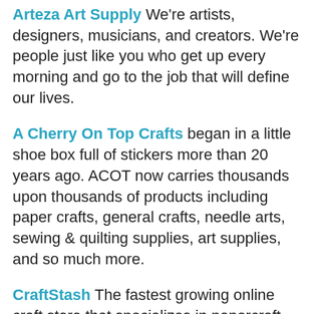Arteza Art Supply We're artists, designers, musicians, and creators. We're people just like you who get up every morning and go to the job that will define our lives.
A Cherry On Top Crafts began in a little shoe box full of stickers more than 20 years ago. ACOT now carries thousands upon thousands of products including paper crafts, general crafts, needle arts, sewing & quilting supplies, art supplies, and so much more.
CraftStash The fastest growing online craft store that specializes in papercraft for card making, journaling, mixed media and much more! We have over 10,000 products to